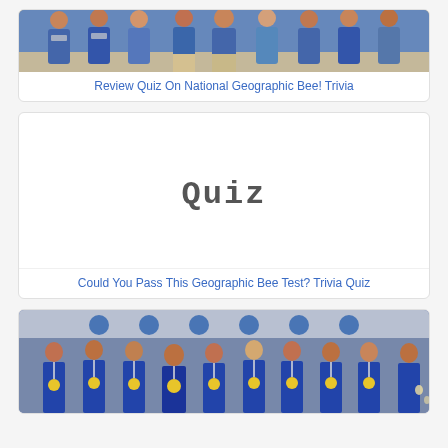[Figure (photo): Group photo of people in blue shirts with lanyards/badges at a National Geographic Bee event (top portion visible)]
Review Quiz On National Geographic Bee! Trivia
[Figure (illustration): White card with the word 'Quiz' written in a handwritten/sketched style font, centered]
Could You Pass This Geographic Bee Test? Trivia Quiz
[Figure (photo): Group photo of boys wearing blue t-shirts with yellow medals/ribbons in front of a National Geographic banner]